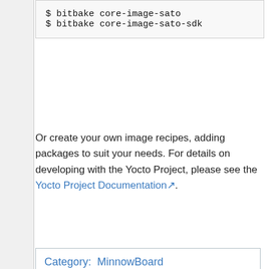$ bitbake core-image-sato
$ bitbake core-image-sato-sdk
Or create your own image recipes, adding packages to suit your needs. For details on developing with the Yocto Project, please see the Yocto Project Documentation.
Category: MinnowBoard
Content is available under a Creative Commons Attribution-ShareAlike 3.0 Unported License unless otherwise noted.
Privacy policy | About eLinux.org | Disclaimers